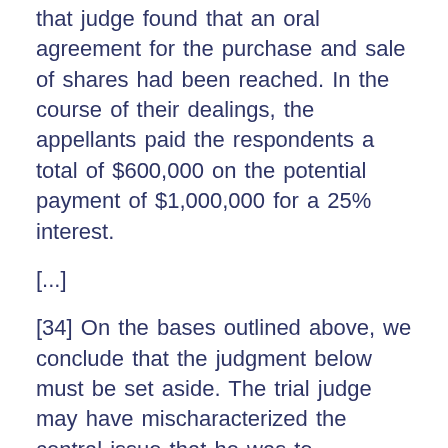that judge found that an oral agreement for the purchase and sale of shares had been reached. In the course of their dealings, the appellants paid the respondents a total of $600,000 on the potential payment of $1,000,000 for a 25% interest.
[...]
[34] On the bases outlined above, we conclude that the judgment below must be set aside. The trial judge may have mischaracterized the central issue that he was to determine and this mischaracterization may have undermined his ultimate determination. We cannot tell on the record, however, because the reasons provided do not show us the pathway taken through the conflicting evidence to arrive at his result or